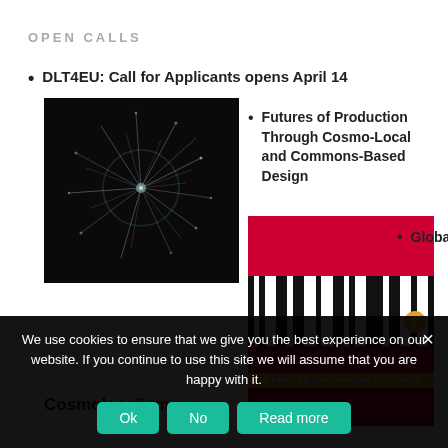OPEN CALLS
DLT4EU: Call for Applicants opens April 14
[Figure (photo): Fireworks explosion on a black background, appearing like a network or neural web of light]
Futures of Production Through Cosmo-Local and Commons-Based Design
[Figure (photo): FabLab Groningen voucher with barcode stripes on a red background with a euro badge]
Global Jam – Dictionary of
Cosmolocalism
We use cookies to ensure that we give you the best experience on our website. If you continue to use this site we will assume that you are happy with it.